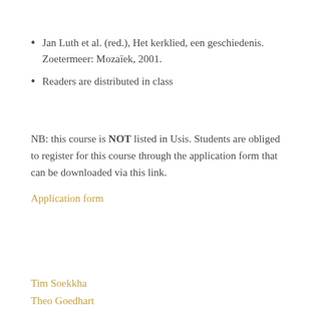Jan Luth et al. (red.), Het kerklied, een geschiedenis. Zoetermeer: Mozaïek, 2001.
Readers are distributed in class
NB: this course is NOT listed in Usis. Students are obliged to register for this course through the application form that can be downloaded via this link.
Application form
Tim Soekkha
Theo Goedhart